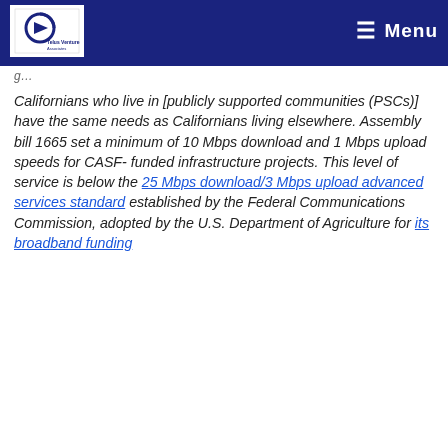Telus Venture Associates logo and Menu navigation
Californians who live in [publicly supported communities (PSCs)] have the same needs as Californians living elsewhere. Assembly bill 1665 set a minimum of 10 Mbps download and 1 Mbps upload speeds for CASF- funded infrastructure projects. This level of service is below the 25 Mbps download/3 Mbps upload advanced services standard established by the Federal Communications Commission, adopted by the U.S. Department of Agriculture for its broadband funding